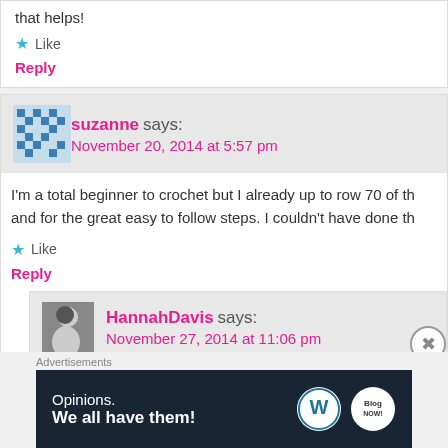that helps!
★ Like
Reply
suzanne says:
November 20, 2014 at 5:57 pm
I'm a total beginner to crochet but I already up to row 70 of th and for the great easy to follow steps. I couldn't have done th
★ Like
Reply
HannahDavis says:
November 27, 2014 at 11:06 pm
[Figure (infographic): WordPress advertisement banner: 'Opinions. We all have them!' with WordPress and Blog Now logos on dark navy background]
Advertisements